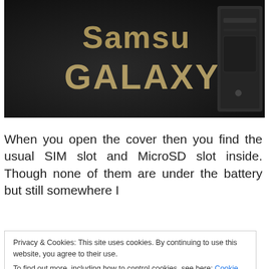[Figure (photo): Close-up photograph of a Samsung Galaxy smartphone showing the back cover with 'Samsung GALAXY' branding text in gold/white letters on a dark surface, with visible battery compartment or rear panel hardware on the right side.]
When you open the cover then you find the usual SIM slot and MicroSD slot inside. Though none of them are under the battery but still somewhere I
Privacy & Cookies: This site uses cookies. By continuing to use this website, you agree to their use.
To find out more, including how to control cookies, see here: Cookie Policy
Close and accept